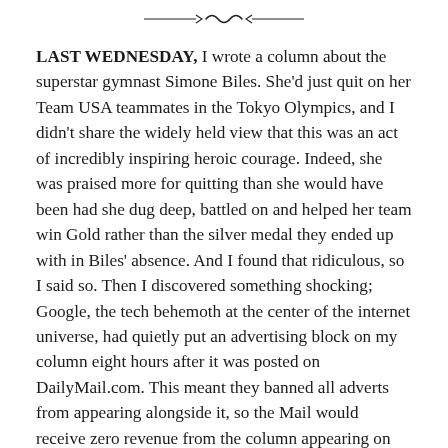[Figure (illustration): Decorative ornamental divider line with curled flourish in the center]
LAST WEDNESDAY, I wrote a column about the superstar gymnast Simone Biles. She'd just quit on her Team USA teammates in the Tokyo Olympics, and I didn't share the widely held view that this was an act of incredibly inspiring heroic courage. Indeed, she was praised more for quitting than she would have been had she dug deep, battled on and helped her team win Gold rather than the silver medal they ended up with in Biles' absence. And I found that ridiculous, so I said so. Then I discovered something shocking; Google, the tech behemoth at the center of the internet universe, had quietly put an advertising block on my column eight hours after it was posted on DailyMail.com. This meant they banned all adverts from appearing alongside it, so the Mail would receive zero revenue from the column appearing on Google. This is a big deal. Google and Facebook have a virtual monopoly on online